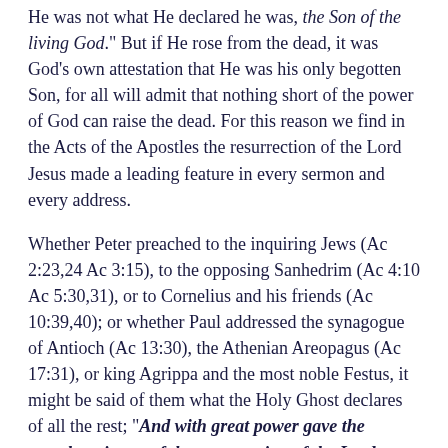He was not what He declared he was, the Son of the living God." But if He rose from the dead, it was God's own attestation that He was his only begotten Son, for all will admit that nothing short of the power of God can raise the dead. For this reason we find in the Acts of the Apostles the resurrection of the Lord Jesus made a leading feature in every sermon and every address.
Whether Peter preached to the inquiring Jews (Ac 2:23,24 Ac 3:15), to the opposing Sanhedrim (Ac 4:10 Ac 5:30,31), or to Cornelius and his friends (Ac 10:39,40); or whether Paul addressed the synagogue of Antioch (Ac 13:30), the Athenian Areopagus (Ac 17:31), or king Agrippa and the most noble Festus, it might be said of them what the Holy Ghost declares of all the rest; "And with great power gave the apostles witness of the resurrection of the Lord Jesus." (Ac 4:33)
Look for a few moments at this remarkable circumstance, that these blessed men of God made the resurrection of Jesus, as it were, the very foundation of all their sermons and addresses; for we may be sure that the Holy Ghost